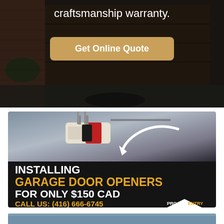craftsmanship warranty.
[Figure (photo): Garage door exterior background photo with dark overlay showing residential garage]
Get Online Quote
[Figure (photo): Garage door opener motor unit mounted to ceiling with white arrow pointing to it, dark background. Text overlay reads: INSTALLING GARAGE DOOR OPENERS FOR ONLY $150 CAD CALL US: (416) 666-6745 with ProEntry Garage Doors logo]
[Figure (photo): Bottom section showing exterior of residential garage door in blue/white tones]